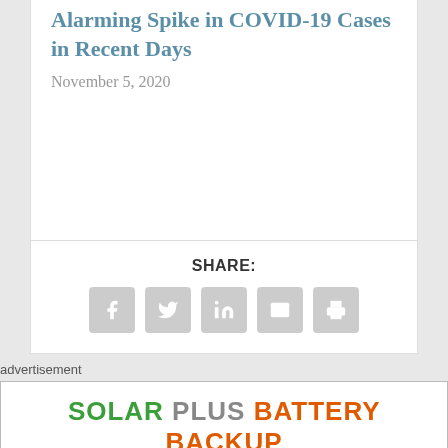Alarming Spike in COVID-19 Cases in Recent Days
November 5, 2020
SHARE:
[Figure (other): Social share buttons: Facebook, Twitter, LinkedIn, Email, Print]
advertisement
[Figure (other): Solarponics advertisement banner: SOLAR PLUS BATTERY BACKUP with Solarponics logo on green background]
19 Cases in Atascadero
Tests Positives for